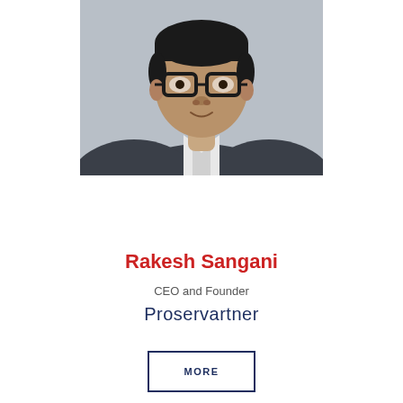[Figure (photo): Professional headshot of Rakesh Sangani, a man wearing dark-framed glasses and a dark suit jacket with a white shirt, against a light grey background.]
Rakesh Sangani
CEO and Founder
Proservartner
MORE